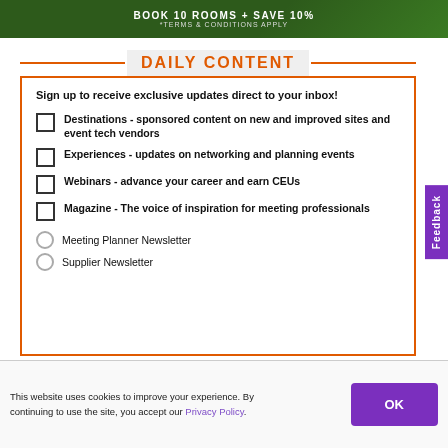[Figure (other): Green banner with text: BOOK 10 ROOMS + SAVE 10% *TERMS & CONDITIONS APPLY]
DAILY CONTENT
Sign up to receive exclusive updates direct to your inbox!
Destinations - sponsored content on new and improved sites and event tech vendors
Experiences - updates on networking and planning events
Webinars - advance your career and earn CEUs
Magazine - The voice of inspiration for meeting professionals
Meeting Planner Newsletter
Supplier Newsletter
This website uses cookies to improve your experience. By continuing to use the site, you accept our Privacy Policy.